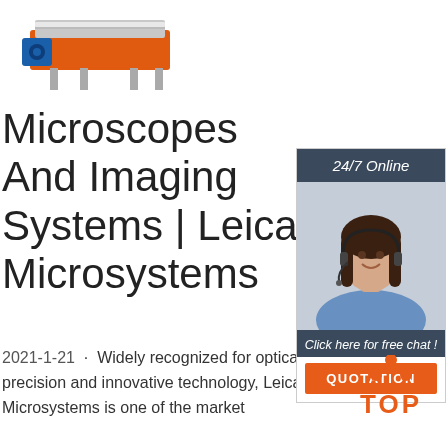[Figure (photo): Orange and silver industrial machine (conveyor or roller equipment) on white background]
Microscopes And Imaging Systems | Leica Microsystems
2021-1-21 · Widely recognized for optical precision and innovative technology, Leica Microsystems is one of the market
[Figure (infographic): Advertisement widget: dark blue header '24/7 Online', photo of woman with headset smiling, dark blue footer 'Click here for free chat!', orange button 'QUOTATION']
[Figure (logo): Orange 'TOP' back-to-top icon with dots forming an upward triangle]